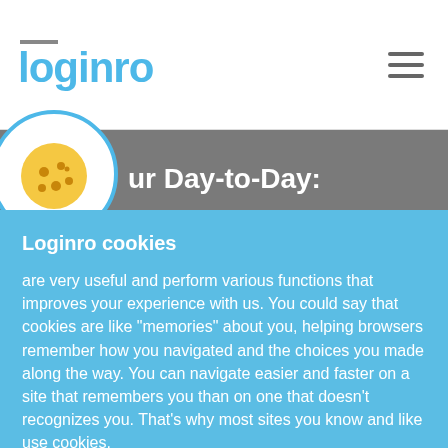[Figure (logo): Loginro logo in blue with a gray bar accent above the text]
[Figure (illustration): Hamburger menu icon (three horizontal lines) in gray on the top right]
[Figure (illustration): Cookie icon in yellow inside a white circle with blue border]
ur Day-to-Day:
Loginro cookies
are very useful and perform various functions that improves your experience with us. You could say that cookies are like "memories" about you, helping browsers remember how you navigated and the choices you made along the way. You can navigate easier and faster on a site that remembers you than on one that doesn't recognizes you. That's why most sites you know and like use cookies.
Settings
Privacy Policy
Cookie Policy
Accept all